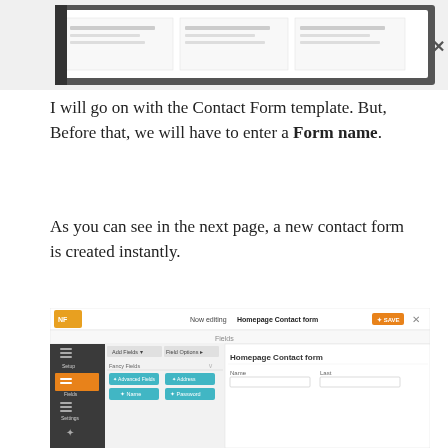[Figure (screenshot): Screenshot of a form template selection dialog with a close (X) button on the right side. Shows a dark background with template options and small text descriptions.]
I will go on with the Contact Form template. But, Before that, we will have to enter a Form name.
As you can see in the next page, a new contact form is created instantly.
[Figure (screenshot): Screenshot of a form builder interface showing 'Now editing Homepage Contact form' in the header with an orange SAVE button. The left panel shows setup options and field buttons including Fancy Fields, Advanced Fields, Name, Address, and Phone buttons. The main area shows a form preview titled 'Homepage Contact form' with Name and Last fields visible.]